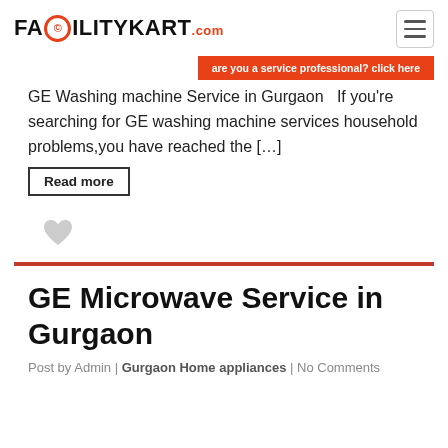FACILITYKART.com
are you a service professional? click here
GE Washing machine Service in Gurgaon   If you're searching for GE washing machine services household problems,you have reached the […]
Read more
[Figure (illustration): Heart/like icon in light gray]
GE Microwave Service in Gurgaon
Post by Admin | Gurgaon Home appliances | No Comments